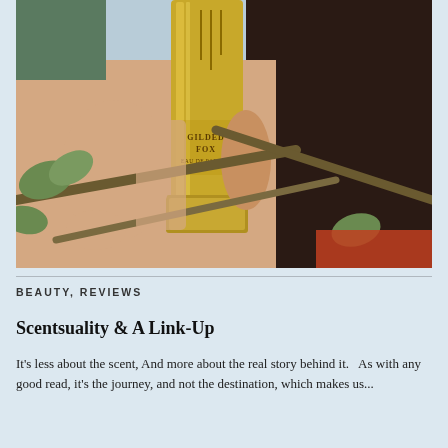[Figure (photo): A hand holding a gold perfume bottle labeled 'GILDED FOX EAU DE PARFUM' surrounded by tree branches and green leaves, with dark hair visible in the background.]
BEAUTY, REVIEWS
Scentsuality & A Link-Up
It's less about the scent, And more about the real story behind it.   As with any good read, it's the journey, and not the destination, which makes us...